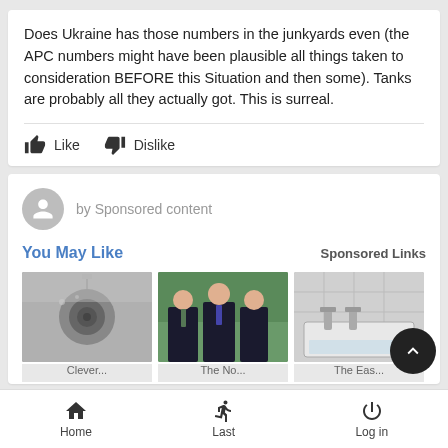Does Ukraine has those numbers in the junkyards even (the APC numbers might have been plausible all things taken to consideration BEFORE this Situation and then some). Tanks are probably all they actually got. This is surreal.
Like    Dislike
by Sponsored content
You May Like
Sponsored Links
[Figure (photo): Thumbnail image of a sink drain]
[Figure (photo): Thumbnail image of three people in business attire]
[Figure (photo): Thumbnail image of a bathroom tap/faucet]
Home    Last    Log in